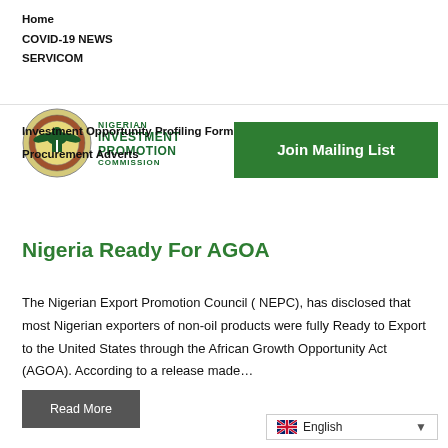Home
COVID-19 NEWS
SERVICOM
Investment Opportunity Profiling Form
Procurement Adverts
[Figure (logo): Nigerian Investment Promotion Commission logo with circular emblem and green text]
Join Mailing List
Nigeria Ready For AGOA
The Nigerian Export Promotion Council ( NEPC), has disclosed that most Nigerian exporters of non-oil products were fully Ready to Export to the United States through the African Growth Opportunity Act (AGOA). According to a release made…
Read More
English